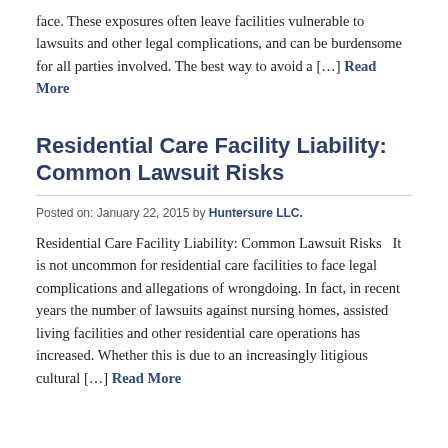face. These exposures often leave facilities vulnerable to lawsuits and other legal complications, and can be burdensome for all parties involved. The best way to avoid a [...] Read More
Residential Care Facility Liability: Common Lawsuit Risks
Posted on: January 22, 2015 by Huntersure LLC.
Residential Care Facility Liability: Common Lawsuit Risks   It is not uncommon for residential care facilities to face legal complications and allegations of wrongdoing. In fact, in recent years the number of lawsuits against nursing homes, assisted living facilities and other residential care operations has increased. Whether this is due to an increasingly litigious cultural [...] Read More